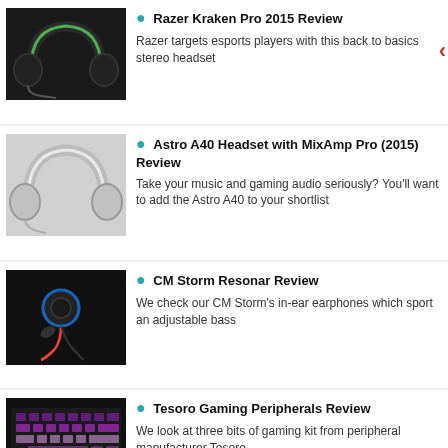Razer Kraken Pro 2015 Review — Razer targets esports players with this back to basics stereo headset
Astro A40 Headset with MixAmp Pro (2015) Review — Take your music and gaming audio seriously? You'll want to add the Astro A40 to your shortlist
CM Storm Resonar Review — We check our CM Storm's in-ear earphones which sport an adjustable bass
Tesoro Gaming Peripherals Review — We look at three bits of gaming kit from peripheral manufacturer Tesoro
In line with recent changes to data protection legislation in the UK and Europe we would like to direct you to our updated Privacy Policy here.
Dismiss